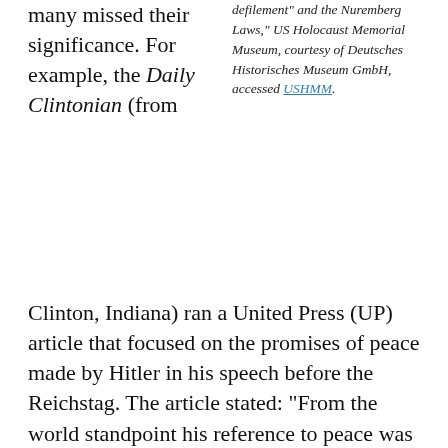many missed their significance. For example, the Daily Clintonian (from Clinton, Indiana) ran a United Press (UP) article that focused on the promises of peace made by Hitler in his speech before the Reichstag. The article stated: “From the world standpoint his reference to peace was of paramount importance. It appeared to say plainly that Germany would not encourage Benito Mussolini’s ambitions and would adopt an attitude of neutrality similar to the United States.” However, in the same speech where he promised peace, Hitler threatened Lithuania.
defilement” and the Nuremberg Laws,” US Holocaust Memorial Museum, courtesy of Deutsches Historisches Museum GmbH, accessed USHMM.